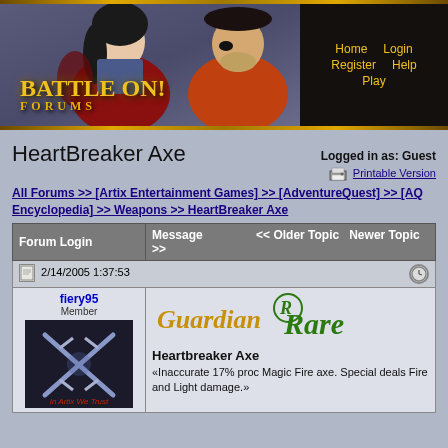[Figure (illustration): BattleOn! Forums banner with anime-style characters and navigation links: Home, Login, Register, Help, Play]
HeartBreaker Axe
Logged in as: Guest
Printable Version
All Forums >> [Artix Entertainment Games] >> [AdventureQuest] >> [AQ Encyclopedia] >> Weapons >> HeartBreaker Axe
| Forum Login | Message | << Older Topic | Newer Topic >> |
| --- | --- | --- | --- |
| 2/14/2005 1:37:53 |  |  |  |
| fiery95
Member | Guardian Rare
Heartbreaker Axe
«Inaccurate 17% proc Magic Fire axe. Special deals Fire and Light damage.» |  |  |